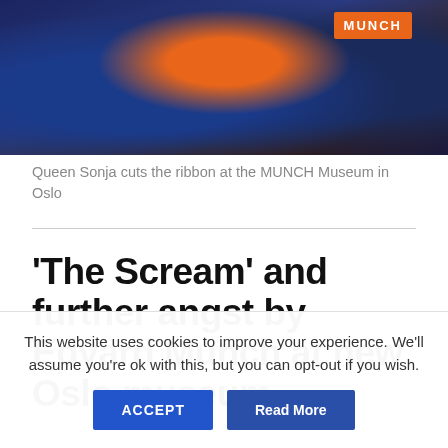[Figure (photo): Photo of Queen Sonja cutting the ribbon at the MUNCH Museum in Oslo, crowd in background with an orange MUNCH sign visible]
Queen Sonja cuts the ribbon at the MUNCH Museum in Oslo
'The Scream' and further angst by Edvard Munch at new Oslo museum
This website uses cookies to improve your experience. We'll assume you're ok with this, but you can opt-out if you wish.